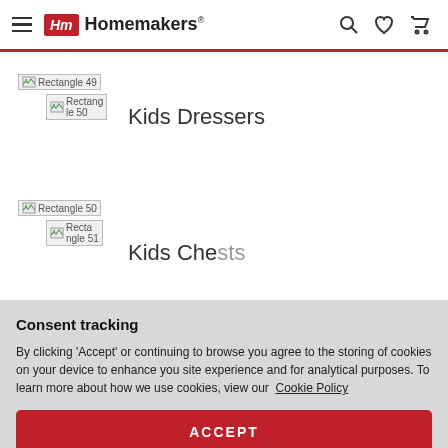Homemakers
[Figure (screenshot): Broken image placeholder: Rectangle 49]
[Figure (screenshot): Broken image placeholder: Rectangle 50]
Kids Dressers
[Figure (screenshot): Broken image placeholder: Rectangle 50]
[Figure (screenshot): Broken image placeholder: Rectangle 51]
Kids Chests
Consent tracking
By clicking 'Accept' or continuing to browse you agree to the storing of cookies on your device to enhance you site experience and for analytical purposes. To learn more about how we use cookies, view our Cookie Policy
ACCEPT